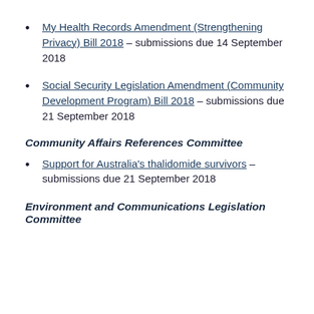My Health Records Amendment (Strengthening Privacy) Bill 2018 – submissions due 14 September 2018
Social Security Legislation Amendment (Community Development Program) Bill 2018 – submissions due 21 September 2018
Community Affairs References Committee
Support for Australia's thalidomide survivors – submissions due 21 September 2018
Environment and Communications Legislation Committee